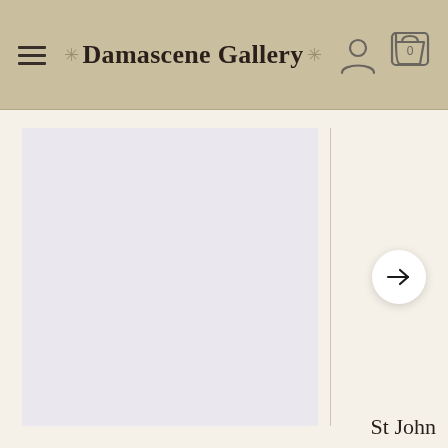Damascene Gallery
[Figure (screenshot): E-commerce website header/navigation bar for Damascene Gallery with hamburger menu, logo with cross ornaments, user account icon, and shopping cart icon showing 0 items]
[Figure (photo): Large empty/light gray product image panel on the left side of the page]
[Figure (other): Right navigation arrow button in a white circular button]
St John